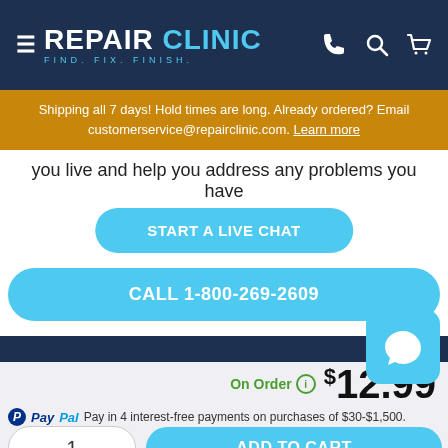REPAIR CLINIC — FIND. FIX. FINISH.
Shipping all 7 days! Hold times are long. Already ordered? Email customerservice@repairclinic.com. Learn more
you live and help you address any problems you have
START A LIVE CHAT
CALL 1-800-269-2609
On Order  $12.99
PayPal  Pay in 4 interest-free payments on purchases of $30-$1,500.
1
ADD TO CART